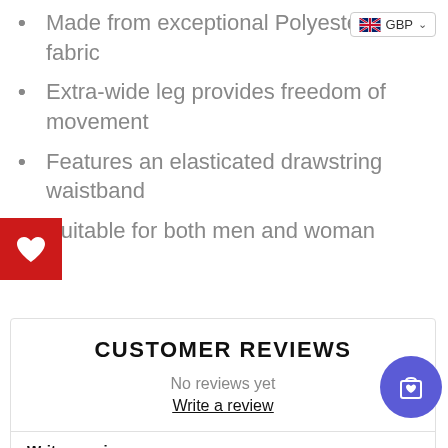[Figure (screenshot): GBP currency selector badge with UK flag in top right corner]
Made from exceptional Polyester Satin fabric
Extra-wide leg provides freedom of movement
Features an elasticated drawstring waistband
[Figure (other): Red square wishlist heart button on left edge]
Suitable for both men and woman
CUSTOMER REVIEWS
No reviews yet
Write a review
Write a review
[Figure (other): Purple circular cart/wishlist button with shopping bag and heart icon]